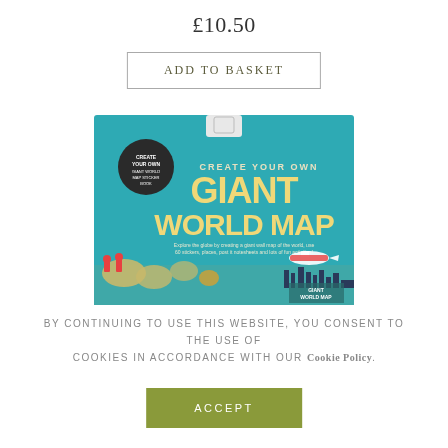£10.50
Add to Basket
[Figure (photo): Product packaging for 'Create Your Own Giant World Map' — a teal/turquoise box with large yellow block lettering showing 'Giant World Map', featuring an illustration of a world map with countries, an airplane, and small decorative details.]
By continuing to use this website, you consent to the use of cookies in accordance with our Cookie Policy.
Accept